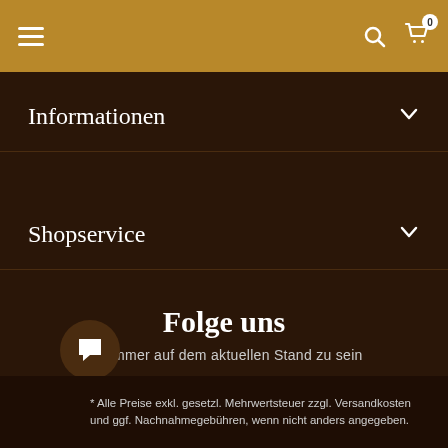Navigation bar with hamburger menu, search icon, and cart icon (0 items)
Informationen
Shopservice
Folge uns
um immer auf dem aktuellen Stand zu sein
[Figure (infographic): Three social media icons: Facebook (blue circle with f), LinkedIn (dark circle with in), Instagram (pink circle with camera icon)]
* Alle Preise exkl. gesetzl. Mehrwertsteuer zzgl. Versandkosten und ggf. Nachnahmegebühren, wenn nicht anders angegeben.